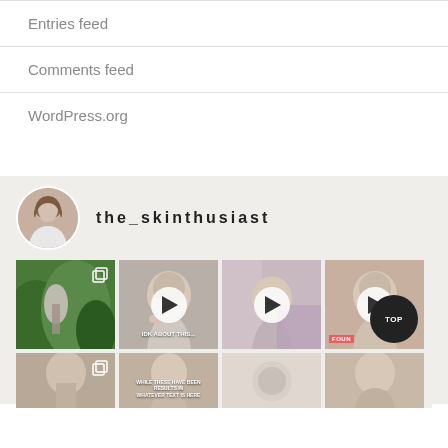Entries feed
Comments feed
WordPress.org
[Figure (screenshot): Instagram feed widget for @the_skinthusiast showing profile photo and grid of skincare/beauty posts with video thumbnails]